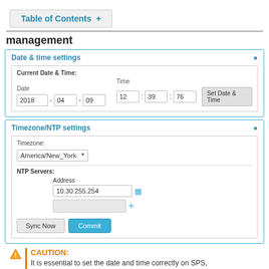Table of Contents +
management
[Figure (screenshot): Date & time settings panel showing Current Date & Time fields: Date (2018-04-09) and Time (12:39:76) with Set Date & Time button]
[Figure (screenshot): Timezone/NTP settings panel showing Timezone dropdown (America/New_York), NTP Servers with Address field (10.30.255.254), Sync Now and Commit buttons]
CAUTION: It is essential to set the date and time correctly on SPS, otherwise the date information of the logs and audit trails will